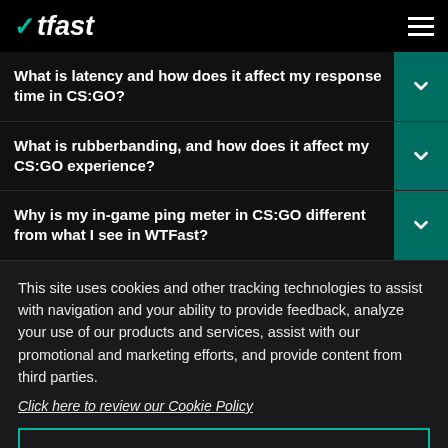WTFast
What is latency and how does it affect my response time in CS:GO?
What is rubberbanding, and how does it affect my CS:GO experience?
Why is my in-game ping meter in CS:GO different from what I see in WTFast?
This site uses cookies and other tracking technologies to assist with navigation and your ability to provide feedback, analyze your use of our products and services, assist with our promotional and marketing efforts, and provide content from third parties.
Click here to review our Cookie Policy
ACCEPT ALL
Accept mandatory and performance